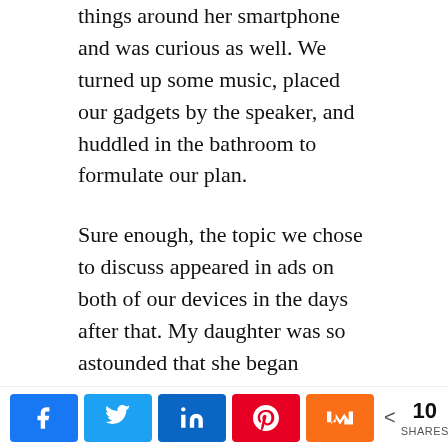things around her smartphone and was curious as well. We turned up some music, placed our gadgets by the speaker, and huddled in the bathroom to formulate our plan.
Sure enough, the topic we chose to discuss appeared in ads on both of our devices in the days after that. My daughter was so astounded that she began discussing the suspected eavesdropping in front of the devices in question.
After that, the ads stopped.
Was something or someone listening in to our
[Figure (infographic): Social share bar with Facebook, Twitter, LinkedIn, Pinterest, Mix buttons and a share count of 10 SHARES]